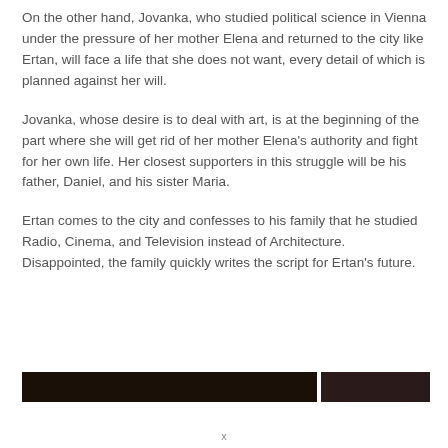On the other hand, Jovanka, who studied political science in Vienna under the pressure of her mother Elena and returned to the city like Ertan, will face a life that she does not want, every detail of which is planned against her will.
Jovanka, whose desire is to deal with art, is at the beginning of the part where she will get rid of her mother Elena's authority and fight for her own life. Her closest supporters in this struggle will be his father, Daniel, and his sister Maria.
Ertan comes to the city and confesses to his family that he studied Radio, Cinema, and Television instead of Architecture. Disappointed, the family quickly writes the script for Ertan's future.
[Figure (photo): Two side-by-side dark photographs, partially visible at the bottom of the page]
x